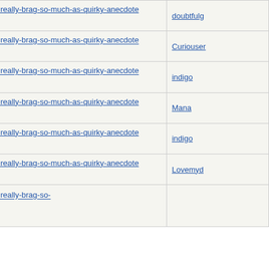| Subject | Author |
| --- | --- |
| Re: Not-really-brag-so-much-as-quirky-anecdote thread | doubtfulg |
| Re: Not-really-brag-so-much-as-quirky-anecdote thread | Curiouser |
| Re: Not-really-brag-so-much-as-quirky-anecdote thread | indigo |
| Re: Not-really-brag-so-much-as-quirky-anecdote thread | Mana |
| Re: Not-really-brag-so-much-as-quirky-anecdote thread | indigo |
| Re: Not-really-brag-so-much-as-quirky-anecdote thread | Lovemyd |
| Re: Not-really-brag-so-much-as-quirky-anecdote thread |  |